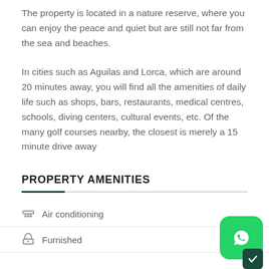The property is located in a nature reserve, where you can enjoy the peace and quiet but are still not far from the sea and beaches.
In cities such as Aguilas and Lorca, which are around 20 minutes away, you will find all the amenities of daily life such as shops, bars, restaurants, medical centres, schools, diving centers, cultural events, etc. Of the many golf courses nearby, the closest is merely a 15 minute drive away
PROPERTY AMENITIES
Air conditioning
Furnished
[Figure (other): WhatsApp contact button (green rounded square with WhatsApp logo) with a dark green checkmark badge overlay in the bottom-right corner]